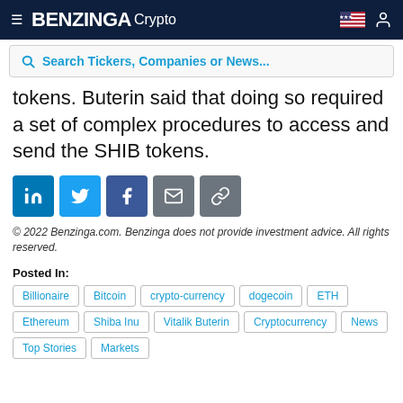BENZINGA Crypto
tokens. Buterin said that doing so required a set of complex procedures to access and send the SHIB tokens.
[Figure (infographic): Social share buttons: LinkedIn, Twitter, Facebook, Email, Link]
© 2022 Benzinga.com. Benzinga does not provide investment advice. All rights reserved.
Posted In: Billionaire Bitcoin crypto-currency dogecoin ETH Ethereum Shiba Inu Vitalik Buterin Cryptocurrency News Top Stories Markets